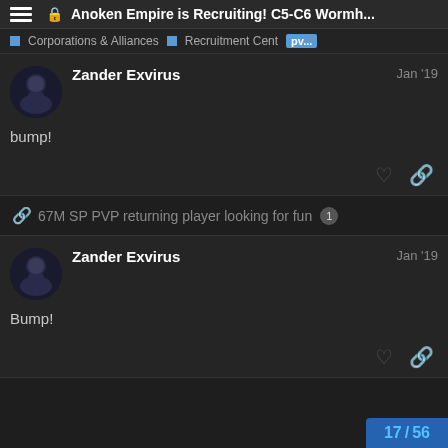Anoken Empire is Recruiting! C5-C6 Wormh...
Corporations & Alliances  Recruitment Center  pv...
Zander Exvirus  Jan '19
bump!
67M SP PVP returning player looking for fun  1
Zander Exvirus  Jan '19
Bump!
17 / 56